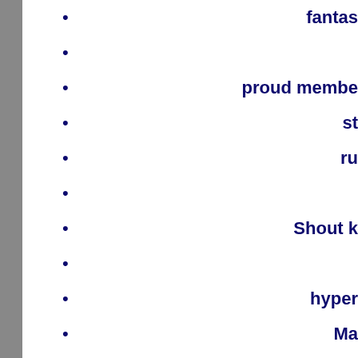fantas
proud membe
st
ru
Shout k
hyper
Ma
em